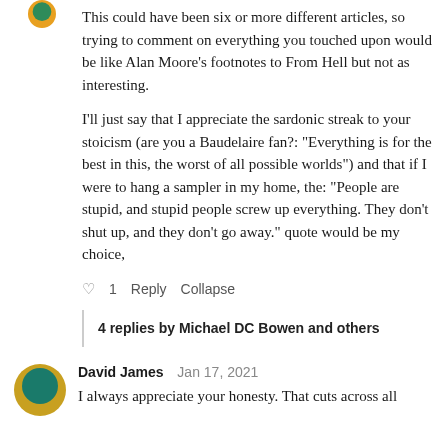This could have been six or more different articles, so trying to comment on everything you touched upon would be like Alan Moore's footnotes to From Hell but not as interesting.

I'll just say that I appreciate the sardonic streak to your stoicism (are you a Baudelaire fan?: "Everything is for the best in this, the worst of all possible worlds") and that if I were to hang a sampler in my home, the: "People are stupid, and stupid people screw up everything. They don't shut up, and they don't go away." quote would be my choice,
♡ 1   Reply   Collapse
4 replies by Michael DC Bowen and others
David James   Jan 17, 2021
I always appreciate your honesty. That cuts across all